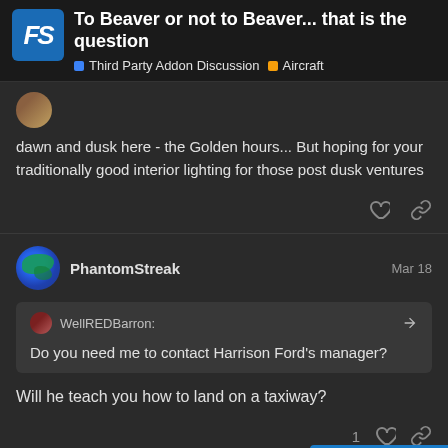To Beaver or not to Beaver... that is the question | Third Party Addon Discussion | Aircraft
dawn and dusk here - the Golden hours... But hoping for your traditionally good interior lighting for those post dusk ventures
PhantomStreak  Mar 18
WellREDBarron: Do you need me to contact Harrison Ford's manager?
Will he teach you how to land on a taxiway?
3 MONTHS LATER
223 / 238